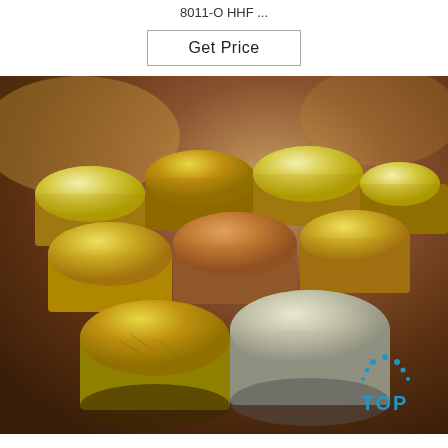8011-O HHF ...
Get Price
[Figure (photo): Photo of multiple cylindrical metal caps/lids with gold, copper/bronze, and silver finishes arranged on a wooden table surface. The caps appear to be aluminum or metal bottle caps of various colors. A blue 'TOP' logo watermark is in the bottom-right corner.]